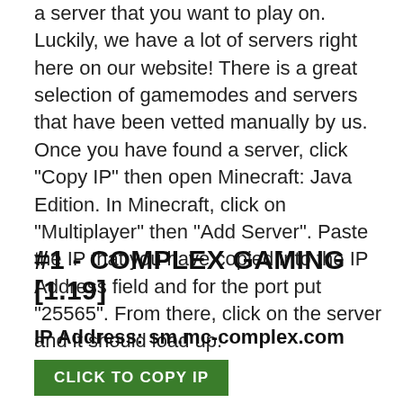a server that you want to play on. Luckily, we have a lot of servers right here on our website! There is a great selection of gamemodes and servers that have been vetted manually by us. Once you have found a server, click "Copy IP" then open Minecraft: Java Edition. In Minecraft, click on "Multiplayer" then "Add Server". Paste the IP that you have copied into the IP Address field and for the port put "25565". From there, click on the server and it should load up.
#1 - COMPLEX GAMING [1.19]
IP Address: sm.mc-complex.com
CLICK TO COPY IP